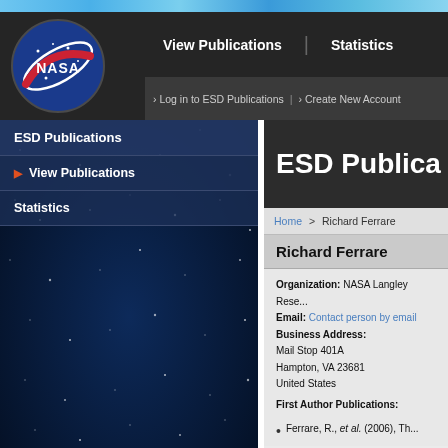NASA ESD Publications — View Publications | Statistics | Log in to ESD Publications | Create New Account
ESD Publications
View Publications
Statistics
ESD Publica...
Home > Richard Ferrare
Richard Ferrare
Organization: NASA Langley Rese...
Email: Contact person by email
Business Address:
Mail Stop 401A
Hampton, VA 23681
United States
First Author Publications:
Ferrare, R., et al. (2006), Th...